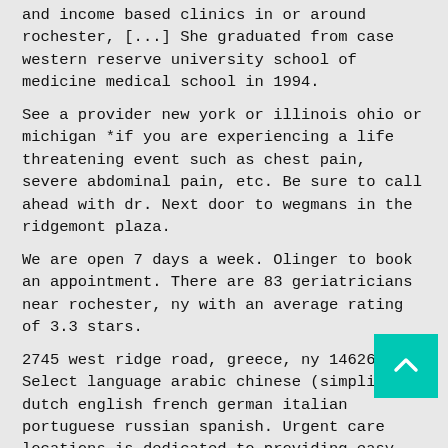… and income based clinics in or around rochester, [...] She graduated from case western reserve university school of medicine medical school in 1994.
See a provider new york or illinois ohio or michigan *if you are experiencing a life threatening event such as chest pain, severe abdominal pain, etc. Be sure to call ahead with dr. Next door to wegmans in the ridgemont plaza.
We are open 7 days a week. Olinger to book an appointment. There are 83 geriatricians near rochester, ny with an average rating of 3.3 stars.
2745 west ridge road, greece, ny 14626. Select language arabic chinese (simplified) dutch english french german italian portuguese russian spanish. Urgent care locations is dedicated to providing easy access to urgent care clinics across the united states so you can find the closest facility when you need it the most.
82 holland street rochester, ny 14605 tel: You do not have to